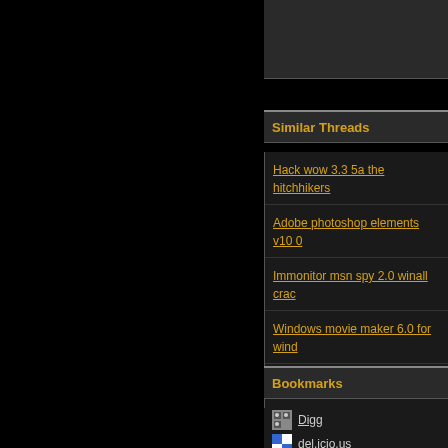Similar Threads
Hack wow 3.3 5a the hitchhikers
Adobe photoshop elements v10 0
Immonitor msn spy 2.0 winall crac
Windows movie maker 6.0 for wind
Mediamonkey gold serial
Windows xp professional trial proc
Sander van doorn nothing inside p
Bookmarks
Digg
del.icio.us
StumbleUpon